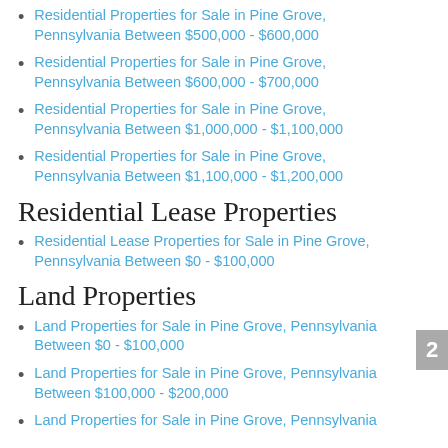Residential Properties for Sale in Pine Grove, Pennsylvania Between $500,000 - $600,000
Residential Properties for Sale in Pine Grove, Pennsylvania Between $600,000 - $700,000
Residential Properties for Sale in Pine Grove, Pennsylvania Between $1,000,000 - $1,100,000
Residential Properties for Sale in Pine Grove, Pennsylvania Between $1,100,000 - $1,200,000
Residential Lease Properties
Residential Lease Properties for Sale in Pine Grove, Pennsylvania Between $0 - $100,000
Land Properties
Land Properties for Sale in Pine Grove, Pennsylvania Between $0 - $100,000
Land Properties for Sale in Pine Grove, Pennsylvania Between $100,000 - $200,000
Land Properties for Sale in Pine Grove, Pennsylvania